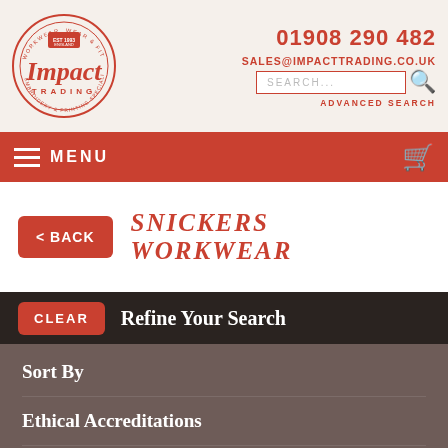[Figure (logo): Impact Trading circular logo with red script lettering and circular border text]
01908 290 482
SALES@IMPACTTRADING.CO.UK
SEARCH...
ADVANCED SEARCH
MENU
SNICKERS WORKWEAR
< BACK
Refine Your Search
CLEAR
Sort By
Ethical Accreditations
Gender